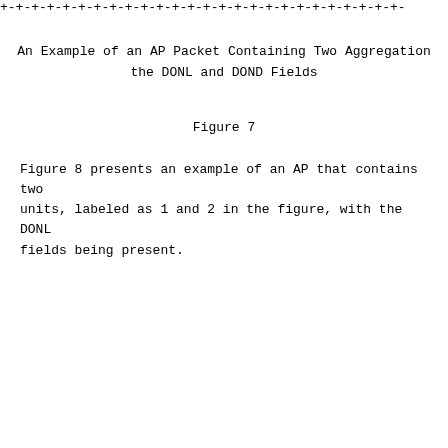[Figure (other): Top border line of a figure: partial row of +-+-+- ASCII art border]
An Example of an AP Packet Containing Two Aggregation the DONL and DOND Fields
Figure 7
Figure 8 presents an example of an AP that contains two units, labeled as 1 and 2 in the figure, with the DONL fields being present.